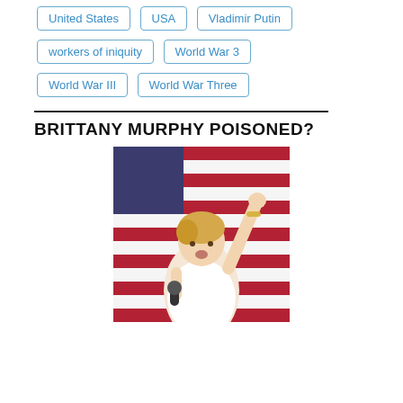United States
USA
Vladimir Putin
workers of iniquity
World War 3
World War III
World War Three
BRITTANY MURPHY POISONED?
[Figure (photo): A woman with short blonde hair singing into a microphone with one arm raised, wearing a white tank top, performing in front of an American flag backdrop.]